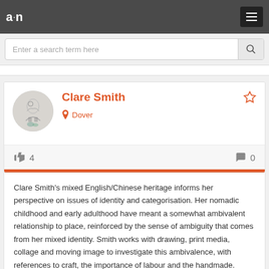a·n
Enter a search term here
Clare Smith
Dover
4
0
Clare Smith's mixed English/Chinese heritage informs her perspective on issues of identity and categorisation. Her nomadic childhood and early adulthood have meant a somewhat ambivalent relationship to place, reinforced by the sense of ambiguity that comes from her mixed identity. Smith works with drawing, print media, collage and moving image to investigate this ambivalence, with references to craft, the importance of labour and the handmade. Through her choice